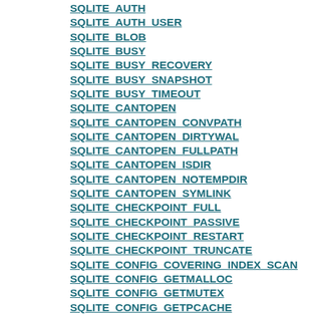SQLITE_AUTH
SQLITE_AUTH_USER
SQLITE_BLOB
SQLITE_BUSY
SQLITE_BUSY_RECOVERY
SQLITE_BUSY_SNAPSHOT
SQLITE_BUSY_TIMEOUT
SQLITE_CANTOPEN
SQLITE_CANTOPEN_CONVPATH
SQLITE_CANTOPEN_DIRTYWAL
SQLITE_CANTOPEN_FULLPATH
SQLITE_CANTOPEN_ISDIR
SQLITE_CANTOPEN_NOTEMPDIR
SQLITE_CANTOPEN_SYMLINK
SQLITE_CHECKPOINT_FULL
SQLITE_CHECKPOINT_PASSIVE
SQLITE_CHECKPOINT_RESTART
SQLITE_CHECKPOINT_TRUNCATE
SQLITE_CONFIG_COVERING_INDEX_SCAN
SQLITE_CONFIG_GETMALLOC
SQLITE_CONFIG_GETMUTEX
SQLITE_CONFIG_GETPCACHE
SQLITE_CONFIG_GETPCACHE2
SQLITE_CONFIG_HEAP
SQLITE_CONFIG_LOG